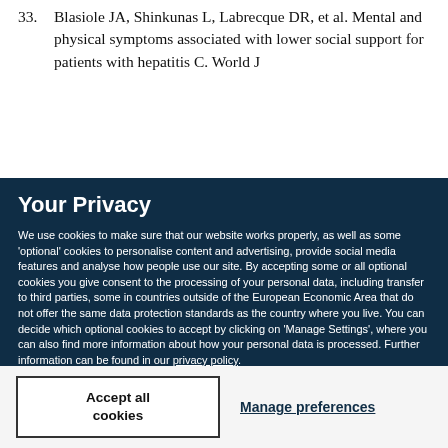33. Blasiole JA, Shinkunas L, Labrecque DR, et al. Mental and physical symptoms associated with lower social support for patients with hepatitis C. World J
Your Privacy
We use cookies to make sure that our website works properly, as well as some 'optional' cookies to personalise content and advertising, provide social media features and analyse how people use our site. By accepting some or all optional cookies you give consent to the processing of your personal data, including transfer to third parties, some in countries outside of the European Economic Area that do not offer the same data protection standards as the country where you live. You can decide which optional cookies to accept by clicking on 'Manage Settings', where you can also find more information about how your personal data is processed. Further information can be found in our privacy policy.
Accept all cookies
Manage preferences